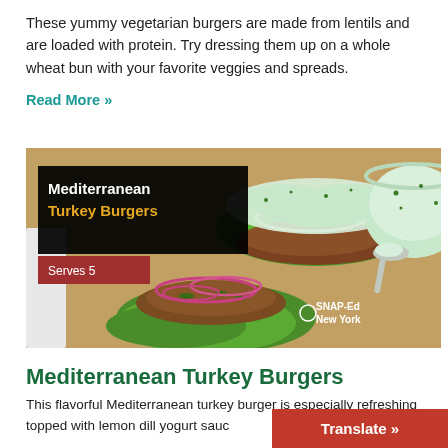These yummy vegetarian burgers are made from lentils and are loaded with protein. Try dressing them up on a whole wheat bun with your favorite veggies and spreads.
Read More »
[Figure (photo): Photo of Mediterranean Turkey Burgers topped with tzatziki sauce and lettuce with red onion. Text overlay shows title 'Mediterranean Turkey Burgers' in white/yellow on black background, 'Serves 5' on red background, and SNAP-Ed New York logo.]
Mediterranean Turkey Burgers
This flavorful Mediterranean turkey burger is especially refreshing topped with lemon dill yogurt sauc
Translate »